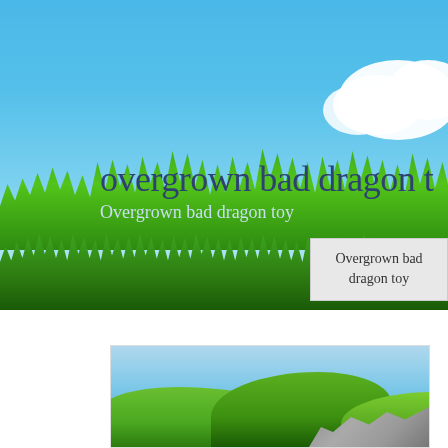[Figure (photo): Website banner with blue sky background, green grass foreground, white cloud in upper right, with title text overlay 'overgrown bad dragon t' and subtitle 'Overgrown bad dragon toy'. A tooltip/label box on the right reads 'Overgrown bad dragon toy'.]
overgrown bad dragon t
Overgrown bad dragon toy
Overgrown bad dragon toy
[Figure (photo): Landscape photo showing green rolling hills with rocky terrain on the right side and blue sky with clouds in the background.]